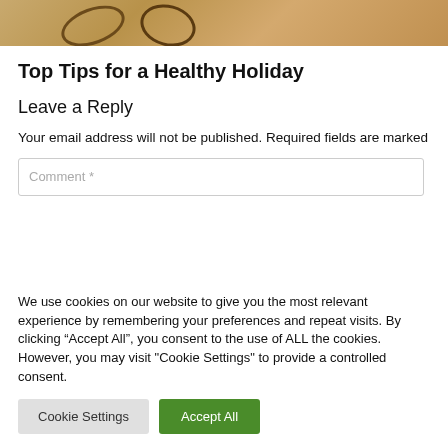[Figure (photo): Decorative holiday image with golden/brown tones showing ornamental cursive designs]
Top Tips for a Healthy Holiday
Leave a Reply
Your email address will not be published. Required fields are marked
We use cookies on our website to give you the most relevant experience by remembering your preferences and repeat visits. By clicking “Accept All”, you consent to the use of ALL the cookies. However, you may visit "Cookie Settings" to provide a controlled consent.